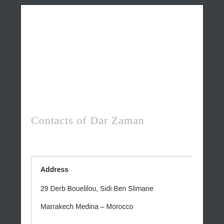Contacts of Dar Zaman
Address
29 Derb Bouelilou, Sidi Ben Slimane
Marrakech Medina – Morocco